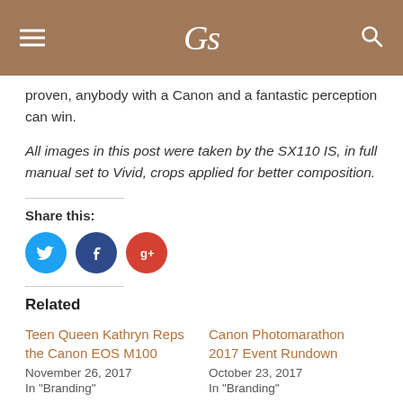CS
proven, anybody with a Canon and a fantastic perception can win.
All images in this post were taken by the SX110 IS, in full manual set to Vivid, crops applied for better composition.
Share this:
[Figure (other): Social share buttons: Twitter (blue circle), Facebook (dark blue circle), Google+ (red circle)]
Related
Teen Queen Kathryn Reps the Canon EOS M100
November 26, 2017
In "Branding"
Canon Photomarathon 2017 Event Rundown
October 23, 2017
In "Branding"